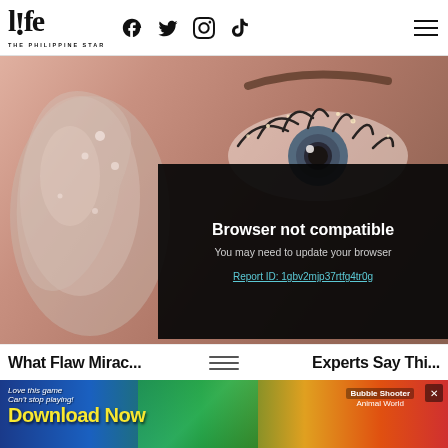life THE PHILIPPINE STAR — with Facebook, Twitter, Instagram, TikTok social icons and hamburger menu
[Figure (photo): Close-up photo of a human eye with glitter/sparkle makeup and a clear gel or serum product on skin beside it]
Browser not compatible
You may need to update your browser
Report ID: 1gbv2mjp37rtfg4tr0g
What Flaw Mirac... Expert Say Thi...
[Figure (photo): Advertisement banner: Love this game Can't stop playing! Download Now — Bubble Shooter Animal World]